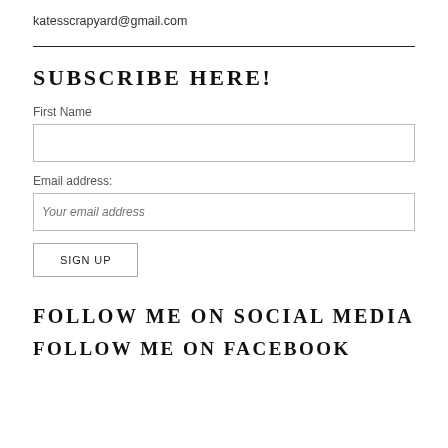katesscrapyard@gmail.com
SUBSCRIBE HERE!
First Name
Email address:
Your email address
SIGN UP
FOLLOW ME ON SOCIAL MEDIA
FOLLOW ME ON FACEBOOK